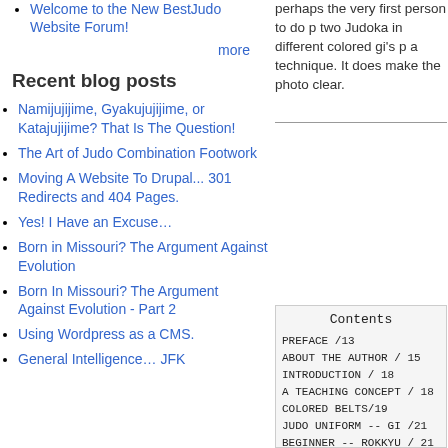Welcome to the New BestJudo Website Forum!
more
Recent blog posts
Namijujijime, Gyakujujijime, or Katajujijime? That Is The Question!
The Art of Judo Combination Footwork
Moving A Website To Drupal... 301 Redirects and 404 Pages.
Yes! I Have an Excuse…
Born in Missouri? The Argument Against Evolution
Born In Missouri? The Argument Against Evolution - Part 2
Using Wordpress as a CMS.
General Intelligence… JFK
perhaps the very first person to do p two Judoka in different colored gi's p a technique. It does make the photo clear.
| Contents |
| --- |
| PREFACE /13 |
| ABOUT THE AUTHOR / 15 |
| INTRODUCTION / 18 |
| A TEACHING CONCEPT / 18 |
| COLORED BELTS/19 |
| JUDO UNIFORM -- GI /21 |
| BEGINNER -- ROKKYU / 21 |
| ADVANCED WHITE BELT -- GOKK |
| GREEN BELT -- YONKYU /22 |
| THIRD DEGREE BROWN BELT -- |
| SECOND DEGREE BROWN BELT -- |
| FIRST DEGREE BROWN BELT -- |
| FIRST BLACK BELT -- SHODAN |